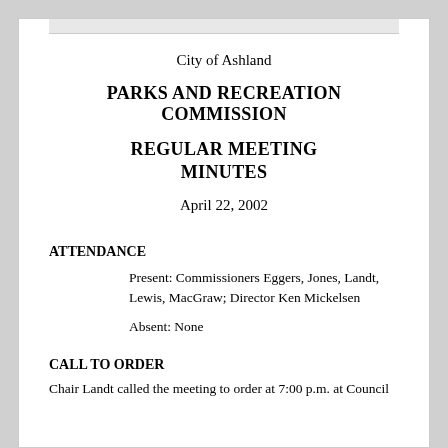City of Ashland
PARKS AND RECREATION COMMISSION
REGULAR MEETING MINUTES
April 22, 2002
ATTENDANCE
Present: Commissioners Eggers, Jones, Landt, Lewis, MacGraw; Director Ken Mickelsen
Absent: None
CALL TO ORDER
Chair Landt called the meeting to order at 7:00 p.m. at Council